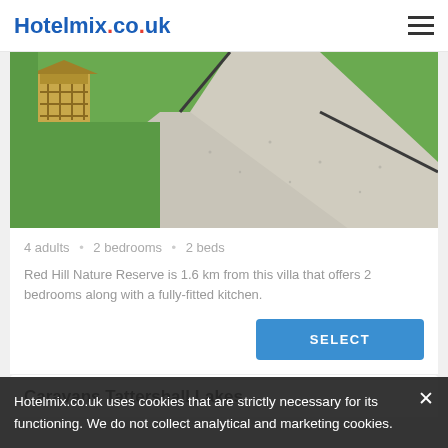Hotelmix.co.uk
[Figure (photo): Aerial view of a property with gravel paths crossing green lawn and a wooden gazebo structure in the upper left corner]
4 adults • 2 bedrooms • 2 beds
Red Hill Nature Reserve is 1.6 km from this villa that offers 2 bedrooms along with a fully-fitted kitchen.
SELECT
Caravans Tattershall Lakes
Hotelmix.co.uk uses cookies that are strictly necessary for its functioning. We do not collect analytical and marketing cookies.